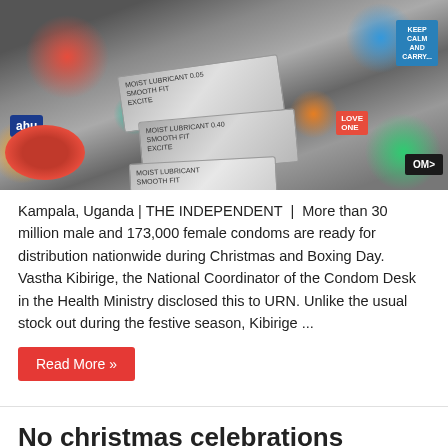[Figure (photo): Close-up photo of multiple colorful condom packets (silver foil wrappers) scattered among various colored circular condom packages]
Kampala, Uganda | THE INDEPENDENT | More than 30 million male and 173,000 female condoms are ready for distribution nationwide during Christmas and Boxing Day. Vastha Kibirige, the National Coordinator of the Condom Desk in the Health Ministry disclosed this to URN. Unlike the usual stock out during the festive season, Kibirige ...
Read More »
No christmas celebrations for Bundibugyo flood victims